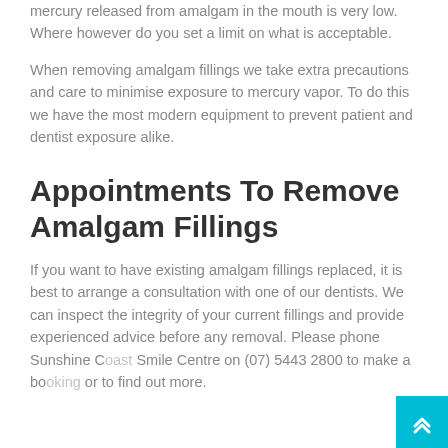mercury released from amalgam in the mouth is very low. Where however do you set a limit on what is acceptable.
When removing amalgam fillings we take extra precautions and care to minimise exposure to mercury vapor. To do this we have the most modern equipment to prevent patient and dentist exposure alike.
Appointments To Remove Amalgam Fillings
If you want to have existing amalgam fillings replaced, it is best to arrange a consultation with one of our dentists. We can inspect the integrity of your current fillings and provide experienced advice before any removal. Please phone Sunshine Coast Smile Centre on (07) 5443 2800 to make a booking or to find out more.